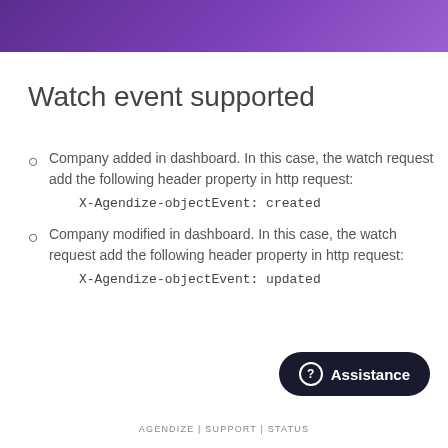Watch event supported
Company added in dashboard. In this case, the watch request add the following header property in http request:
    X-Agendize-objectEvent: created
Company modified in dashboard. In this case, the watch request add the following header property in http request:
    X-Agendize-objectEvent: updated
AGENDIZE | SUPPORT | STATUS